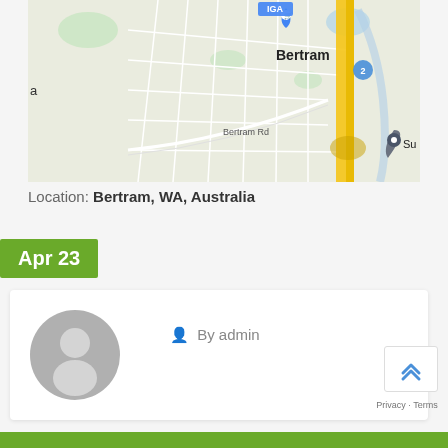[Figure (map): Google Maps view of Bertram, WA, Australia showing street layout, IGA store marker, Bertram Rd label, a highway with yellow markings, and a location pin labeled Su]
Location: Bertram, WA, Australia
Apr 23
[Figure (photo): User avatar placeholder: grey circle with silhouette of a person]
By admin